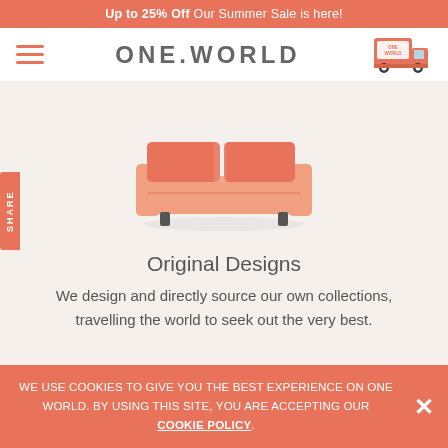Up to 25% Off Our Summer Sale is here!
[Figure (logo): ONE.WORLD logo with hamburger menu icon on left and delivery truck icon on right]
[Figure (illustration): Flat illustration of an orange/salmon colored sofa/couch]
Original Designs
We design and directly source our own collections, travelling the world to seek out the very best.
WE USE COOKIES TO GIVE YOU THE BEST EXPERIENCE ON ONE WORLD. BY USING THIS SITE, YOU ARE ACCEPTING OUR COOKIE POLICY.